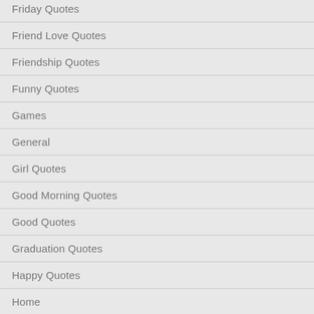Friday Quotes
Friend Love Quotes
Friendship Quotes
Funny Quotes
Games
General
Girl Quotes
Good Morning Quotes
Good Quotes
Graduation Quotes
Happy Quotes
Home